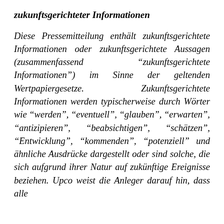zukunftsgerichteter Informationen
Diese Pressemitteilung enthält zukunftsgerichtete Informationen oder zukunftsgerichtete Aussagen (zusammenfassend "zukunftsgerichtete Informationen") im Sinne der geltenden Wertpapiergesetze. Zukunftsgerichtete Informationen werden typischerweise durch Wörter wie "werden", "eventuell", "glauben", "erwarten", "antizipieren", "beabsichtigen", "schätzen", "Entwicklung", "kommenden", "potenziell" und ähnliche Ausdrücke dargestellt oder sind solche, die sich aufgrund ihrer Natur auf zukünftige Ereignisse beziehen. Upco weist die Anleger darauf hin, dass alle